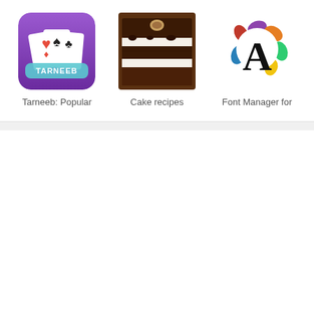[Figure (screenshot): App icon for Tarneeb: Popular card game with playing cards on purple background]
Tarneeb: Popular
[Figure (photo): Layered chocolate cake with cream filling and nuts - Cake recipes app icon]
Cake recipes
[Figure (logo): Font Manager app icon with colorful letter A logo]
Font Manager for